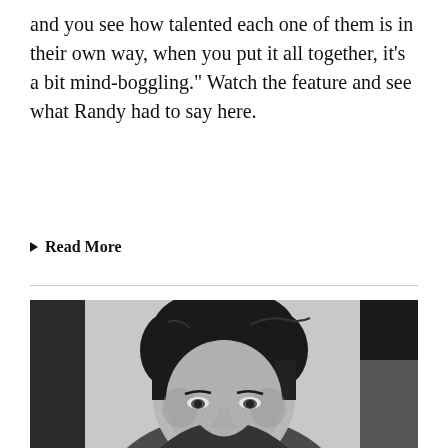and you see how talented each one of them is in their own way, when you put it all together, it's a bit mind-boggling." Watch the feature and see what Randy had to say here.
Read More
[Figure (photo): Black and white portrait photograph of a young man with dark hair, looking slightly to the side, with a bookshelf or dark panel visible in the background.]